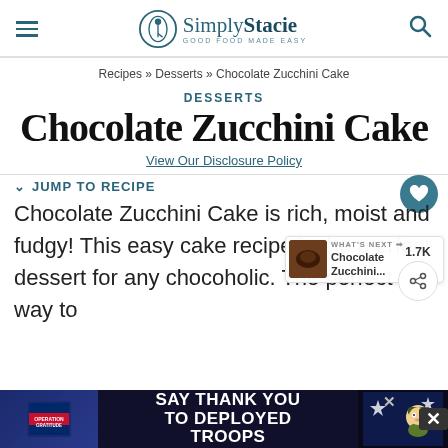Simply Stacie — GOOD FOOD MADE EASY
Recipes » Desserts » Chocolate Zucchini Cake
DESSERTS
Chocolate Zucchini Cake
View Our Disclosure Policy
JUMP TO RECIPE
Chocolate Zucchini Cake is rich, moist and fudgy! This easy cake recipe is the perfect dessert for any chocoholic. The perfect way to use
[Figure (screenshot): Advertisement bar: Operation Gratitude — SAY THANK YOU TO DEPLOYED TROOPS]
[Figure (screenshot): WHAT'S NEXT: Chocolate Zucchini... with a small thumbnail image]